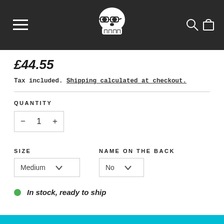[Figure (logo): Dark navigation bar with skull logo wearing glasses, hamburger menu icon on left, search and cart icons on right]
£44.55
Tax included. Shipping calculated at checkout.
QUANTITY
- 1 +
SIZE
NAME ON THE BACK
Medium (dropdown)
No (dropdown)
In stock, ready to ship